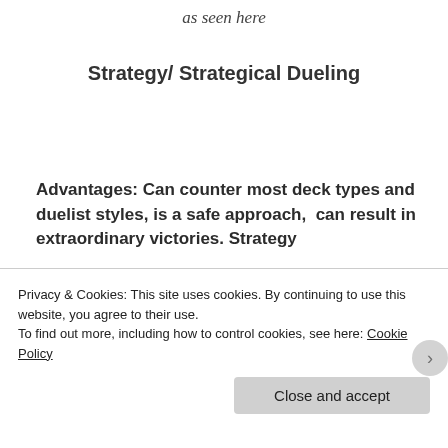as seen here
Strategy/ Strategical Dueling
Advantages: Can counter most deck types and duelist styles, is a safe approach,  can result in extraordinary victories. Strategy
Privacy & Cookies: This site uses cookies. By continuing to use this website, you agree to their use.
To find out more, including how to control cookies, see here: Cookie Policy
Close and accept